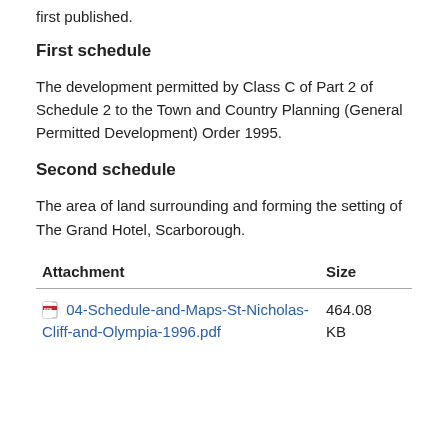first published.
First schedule
The development permitted by Class C of Part 2 of Schedule 2 to the Town and Country Planning (General Permitted Development) Order 1995.
Second schedule
The area of land surrounding and forming the setting of The Grand Hotel, Scarborough.
| Attachment | Size |
| --- | --- |
| 04-Schedule-and-Maps-St-Nicholas-Cliff-and-Olympia-1996.pdf | 464.08 KB |